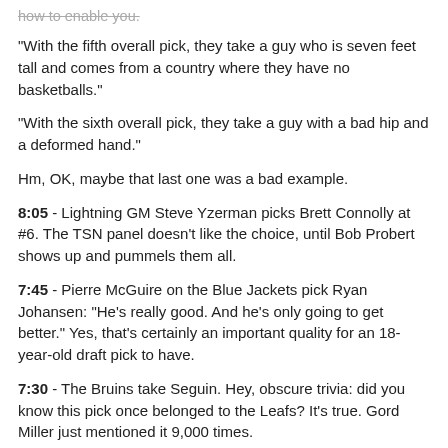how to enable you.
"With the fifth overall pick, they take a guy who is seven feet tall and comes from a country where they have no basketballs."
"With the sixth overall pick, they take a guy with a bad hip and a deformed hand."
Hm, OK, maybe that last one was a bad example.
8:05 - Lightning GM Steve Yzerman picks Brett Connolly at #6. The TSN panel doesn't like the choice, until Bob Probert shows up and pummels them all.
7:45 - Pierre McGuire on the Blue Jackets pick Ryan Johansen: "He's really good. And he's only going to get better." Yes, that's certainly an important quality for an 18-year-old draft pick to have.
7:30 - The Bruins take Seguin. Hey, obscure trivia: did you know this pick once belonged to the Leafs? It's true. Gord Miller just mentioned it 9,000 times.